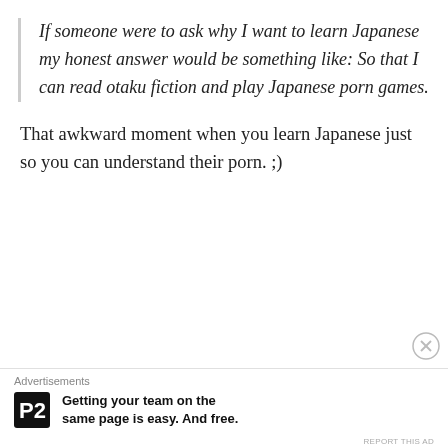If someone were to ask why I want to learn Japanese my honest answer would be something like: So that I can read otaku fiction and play Japanese porn games.
That awkward moment when you learn Japanese just so you can understand their porn. ;)
Advertisements
Getting your team on the same page is easy. And free.